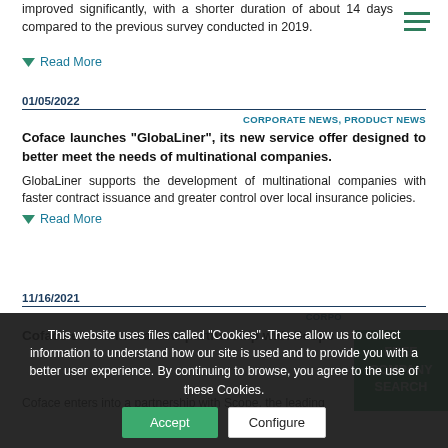improved significantly, with a shorter duration of about 14 days compared to the previous survey conducted in 2019.
Read More
01/05/2022
CORPORATE NEWS, PRODUCT NEWS
Coface launches "GlobaLiner", its new service offer designed to better meet the needs of multinational companies.
GlobaLiner supports the development of multinational companies with faster contract issuance and greater control over local insurance policies.
Read More
11/16/2021
CORPO
Coface enters into a new partnership with Scope
FREE COMPANY SEARCH
This website uses files called "Cookies". These allow us to collect information to understand how our site is used and to provide you with a better user experience. By continuing to browse, you agree to the use of these Cookies.
Accept
Configure